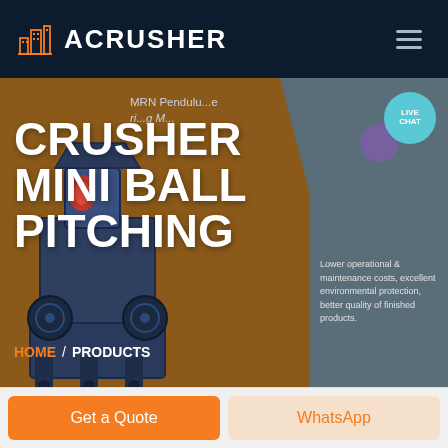ACRUSHER
CRUSHER MINI BALL PITCHING
MRN Pendulu... (breadcrumb overlay text)
Lower operational & maintenance costs, excellent environmental protection, better quality of finished products.
HOME / PRODUCTS
[Figure (screenshot): ACrusher website screenshot showing crusher mini ball pitching product page with machine image, navigation header, live chat bubble, and CTA buttons]
Get a Quote
WhatsApp